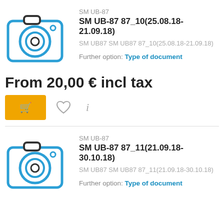[Figure (illustration): Blue camera icon illustration for product SM UB-87 87_10]
SM UB-87
SM UB-87 87_10(25.08.18-21.09.18)
SM UB87 SM UB87 87_10(25.08.18-21.09.18)
Further option: Type of document
From 20,00 € incl tax
[Figure (illustration): Blue camera icon illustration for product SM UB-87 87_11]
SM UB-87
SM UB-87 87_11(21.09.18-30.10.18)
SM UB87 SM UB87 87_11(21.09.18-30.10.18)
Further option: Type of document